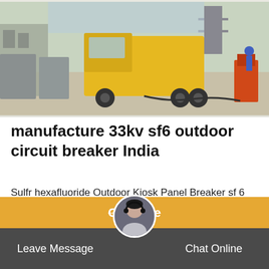[Figure (photo): Outdoor industrial site photo showing a yellow truck and electrical equipment/transformers in a construction/substation area, workers visible in background]
manufacture 33kv sf6 outdoor circuit breaker India
Sulfr hexafluoride Outdoor Kiosk Panel Breaker sf 6 breaker (HPA) Supply voltage 33KV Rated current 1250A, 1600A, 2000A Short time current rating 26.3 Degree of protection of panel IP 4X, IP5X Sheet Enclosure i) Prime grade sheet steel treated with 7 tank process and
Get Price | Leave Message | Chat Online